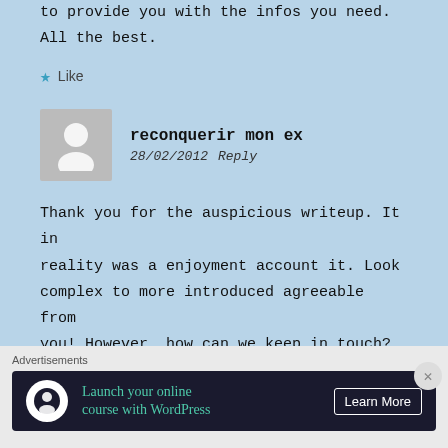to provide you with the infos you need. All the best.
Like
reconquerir mon ex
28/02/2012   Reply
Thank you for the auspicious writeup. It in reality was a enjoyment account it. Look complex to more introduced agreeable from you! However, how can we keep in touch?
Advertisements
Launch your online course with WordPress   Learn More